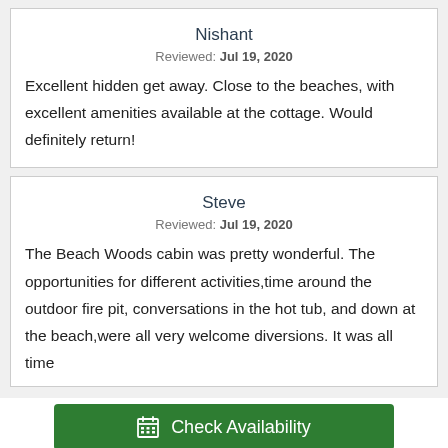Nishant
Reviewed: Jul 19, 2020
Excellent hidden get away. Close to the beaches, with excellent amenities available at the cottage. Would definitely return!
Steve
Reviewed: Jul 19, 2020
The Beach Woods cabin was pretty wonderful. The opportunities for different activities,time around the outdoor fire pit, conversations in the hot tub, and down at the beach,were all very welcome diversions. It was all time
Check Availability